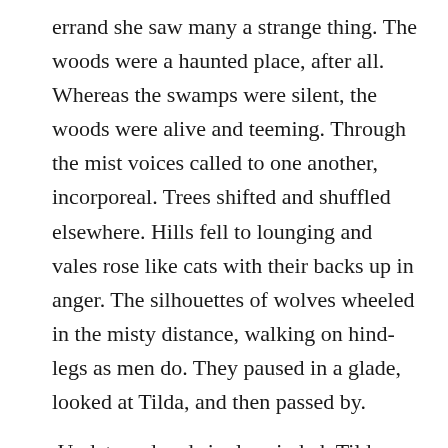errand she saw many a strange thing.  The woods were a haunted place, after all.  Whereas the swamps were silent, the woods were alive and teeming.  Through the mist voices called to one another, incorporeal.  Trees shifted and shuffled elsewhere.  Hills fell to lounging and vales rose like cats with their backs up in anger.  The silhouettes of wolves wheeled in the misty distance, walking on hind-legs as men do.  They paused in a glade, looked at Tilda, and then passed by.

 Undeterred and single-minded, Tilda gathered into a wicker basket all such that she required.  Then she returned home to await nightfall, sleeping in the meantime.  Unfortunately, her father was in a foul mood after the sordid revelations of the day.  When he saw the